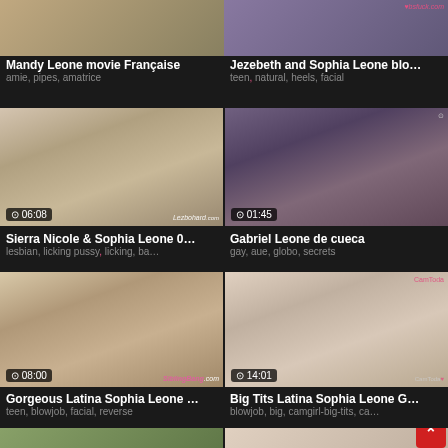[Figure (screenshot): Video thumbnail grid showing adult video content listings with titles, tags, and durations]
Mandy Leone movie Française
amie, pipes, amatrice
Jezebeth and Sophia Leone blo…
teen, natural, heels, facial
Sierra Nicole & Sophia Leone 0… 06:08
lesbian, licking pussy, licking, ba…
Gabriel Leone de cueca 01:45
gay, aue, globo, secrets
Gorgeous Latina Sophia Leone … 08:00
teen, blowjob, facial, reverse
Big Tits Latina Sophia Leone G… 14:01
blowjob, big, camgirl-big-tits, ca…